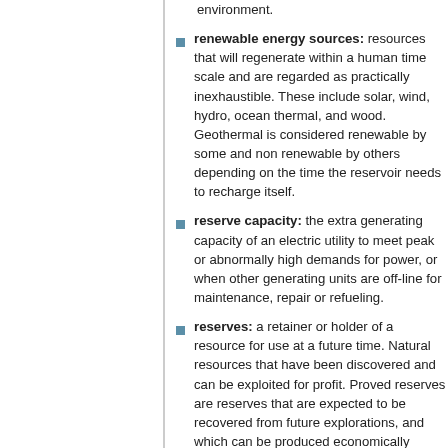environment.
renewable energy sources: resources that will regenerate within a human time scale and are regarded as practically inexhaustible. These include solar, wind, hydro, ocean thermal, and wood. Geothermal is considered renewable by some and non renewable by others depending on the time the reservoir needs to recharge itself.
reserve capacity: the extra generating capacity of an electric utility to meet peak or abnormally high demands for power, or when other generating units are off-line for maintenance, repair or refueling.
reserves: a retainer or holder of a resource for use at a future time. Natural resources that have been discovered and can be exploited for profit. Proved reserves are reserves that are expected to be recovered from future explorations, and which can be produced economically through application of improved recovery techniques. Inferred reserves (or indicated reserves) are